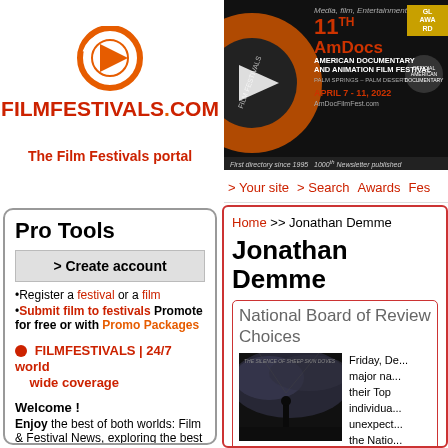[Figure (logo): FilmFestivals.com logo with orange play button icon]
The Film Festivals portal
[Figure (screenshot): AmDocs 11th American Documentary and Animation Film Festival banner, April 7-11, 2022, Palm Springs]
> Your site  > Search  Awards  Fes...
Pro Tools
> Create account
Register a festival or a film
Submit film to festivals Promote for free or with Promo Packages
FILMFESTIVALS | 24/7 world wide coverage
Welcome !
Enjoy the best of both worlds: Film & Festival News, exploring the best
Home >> Jonathan Demme
Jonathan Demme
National Board of Review Choices
[Figure (photo): Dark moody film still with dramatic cloudy sky and silhouette]
Friday, De... major na... their Top individua... unexpect... the Natio...